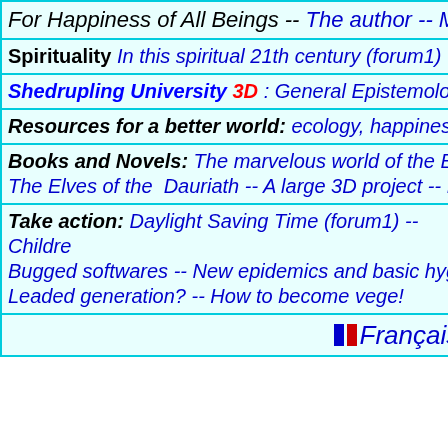For Happiness of All Beings -- The author -- Mo...
Spirituality In this spiritual 21th century (forum1) -- Ar...
Shedrupling University 3D : General Epistemology (...
Resources for a better world: ecology, happiness, li...
Books and Novels: The marvelous world of the Eolis... The Elves of the Dauriath -- A large 3D project -- Mar...
Take action: Daylight Saving Time (forum1) -- Childre... Bugged softwares -- New epidemics and basic hygien... Leaded generation? -- How to become vege!
Français